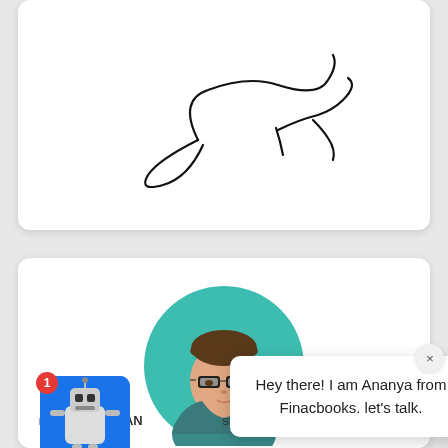[Figure (illustration): Handwritten signature on a white card background]
[Figure (illustration): Avatar of a man with glasses and teal sweater on a teal circular background]
st possible time at a best
[Figure (illustration): Chat popup with text: Hey there! I am Ananya from Finacbooks. let's talk.]
[Figure (illustration): Robot chatbot widget icon on blue background with red notification badge showing 1]